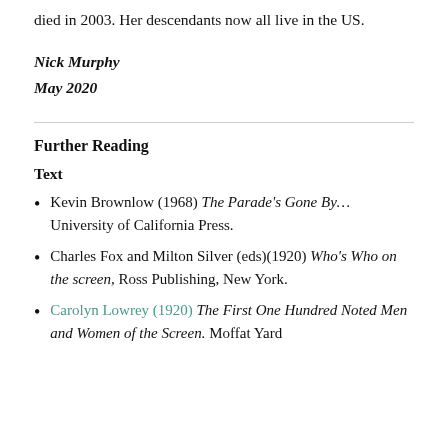died in 2003. Her descendants now all live in the US.
Nick Murphy
May 2020
Further Reading
Text
Kevin Brownlow (1968) The Parade's Gone By… University of California Press.
Charles Fox and Milton Silver (eds)(1920) Who's Who on the screen, Ross Publishing, New York.
Carolyn Lowrey (1920) The First One Hundred Noted Men and Women of the Screen. Moffat Yard